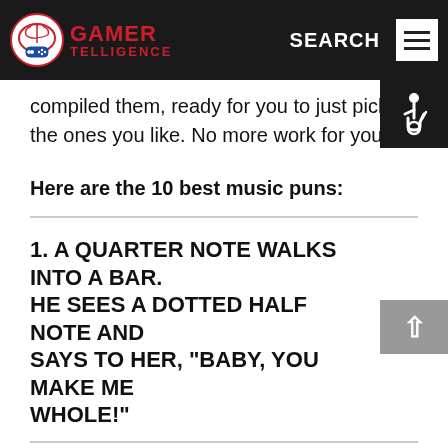GAMER TELLIGENCE — SEARCH
compiled them, ready for you to just pick the ones you like. No more work for you.
Here are the 10 best music puns:
1. A QUARTER NOTE WALKS INTO A BAR. HE SEES A DOTTED HALF NOTE AND SAYS TO HER, "BABY, YOU MAKE ME WHOLE!"
Who knew these notes had so many cheesy lines with them? Smooth move, quarter note.